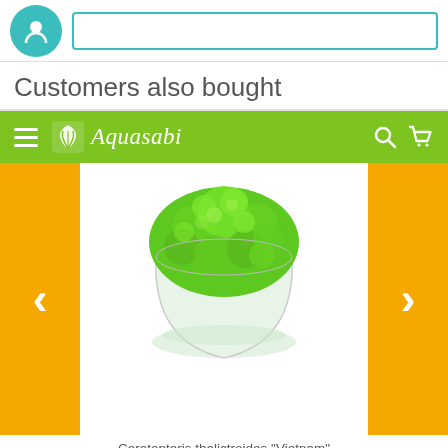[Figure (screenshot): Top bar with teal circular icon and white input field with teal border]
Customers also bought
[Figure (screenshot): Aquasabi green navigation bar with hamburger menu, logo, search icon, and cart icon]
[Figure (photo): Ceratopteris thalictroides Vietnam in Vitro XL aquatic plant in a clear round cup with bright green feathery foliage, flanked by yellow side bars with left and right chevron arrows]
Ceratopteris thalictroides "Vietnam" in Vitro XL
[Figure (other): Five empty star rating icons]